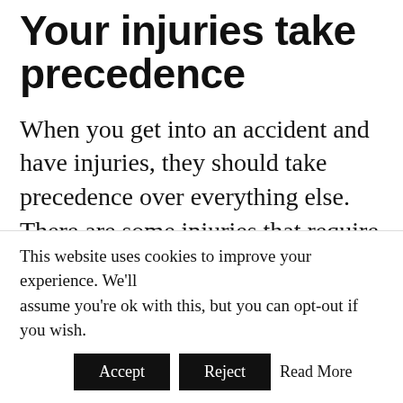Your injuries take precedence
When you get into an accident and have injuries, they should take precedence over everything else. There are some injuries that require immediate treatment and delay can make a difference between life and death. In such situations, getting medical treatment should be your top priority. At the same time, you can ask a friend or loved one to get in touch with a lawyer. Timely
This website uses cookies to improve your experience. We'll assume you're ok with this, but you can opt-out if you wish. Accept Reject Read More